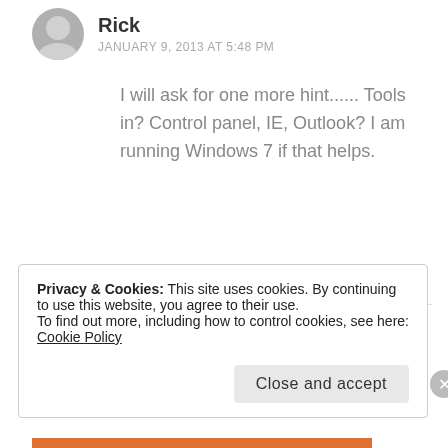Rick
JANUARY 9, 2013 AT 5:48 PM
I will ask for one more hint...... Tools in? Control panel, IE, Outlook? I am running Windows 7 if that helps.
★ Like
Voki Blog
JANUARY 9, 2013 AT 6:01 PM
Privacy & Cookies: This site uses cookies. By continuing to use this website, you agree to their use. To find out more, including how to control cookies, see here: Cookie Policy
Close and accept